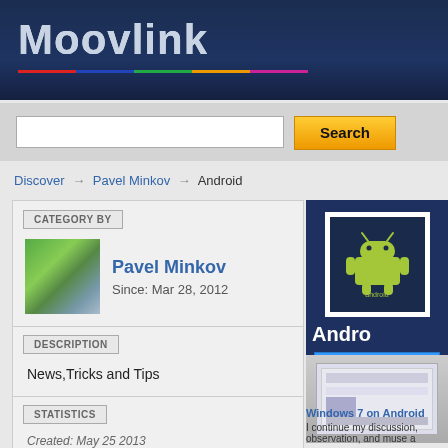Moovlink
Search
Discover → Pavel Minkov → Android
CATEGORY BY
Pavel Minkov
Since: Mar 28, 2012
DESCRIPTION
News,Tricks and Tips
STATISTICS
Created: May 25 2013
Views	6095
Likes	12
[Figure (logo): Android logo on dark blue background]
Andro
Like
[Figure (screenshot): Windows 7 on Android tablet screenshot]
Windows 7 on Android
I continue my discussion, observation, and muse a